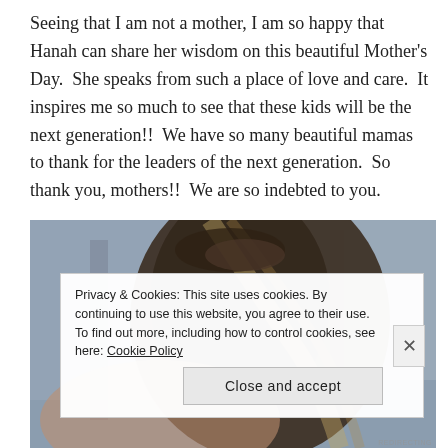Seeing that I am not a mother, I am so happy that Hanah can share her wisdom on this beautiful Mother's Day.  She speaks from such a place of love and care.  It inspires me so much to see that these kids will be the next generation!!  We have so many beautiful mamas to thank for the leaders of the next generation.  So thank you, mothers!!  We are so indebted to you.
[Figure (photo): A close-up photo of a woman seen from behind, showing her braided or pulled-back dark hair with lighter highlights, against a blurred outdoor background with trees and blue-grey tones.]
Privacy & Cookies: This site uses cookies. By continuing to use this website, you agree to their use.
To find out more, including how to control cookies, see here: Cookie Policy
[Close and accept]